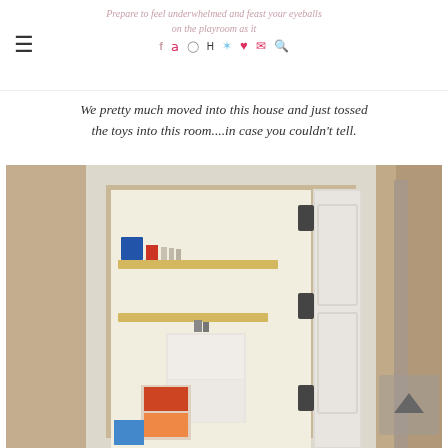Prepare to feel underwhelmed and feast your eyeballs on the playroom as it...
We pretty much moved into this house and just tossed the toys into this room....in case you couldn't tell.
[Figure (photo): Interior view looking through a doorway into a playroom. The room has beige/tan walls, wooden floating shelves with some items (books, a red lantern, small decorative objects), white door with dark hinges, and some toys/items visible in the room.]